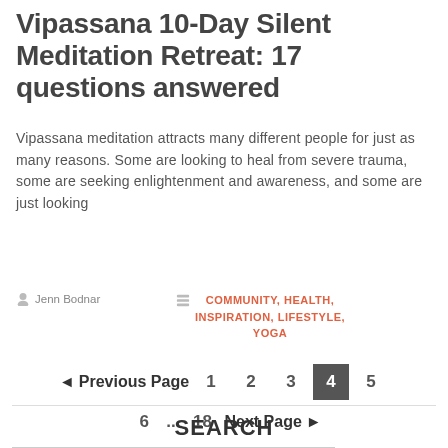Vipassana 10-Day Silent Meditation Retreat: 17 questions answered
Vipassana meditation attracts many different people for just as many reasons. Some are looking to heal from severe trauma, some are seeking enlightenment and awareness, and some are just looking
Jenn Bodnar  COMMUNITY, HEALTH, INSPIRATION, LIFESTYLE, YOGA
◄ Previous Page  1  2  3  4  5  6  ...  18  Next Page ►
SEARCH
search here  SEARCH